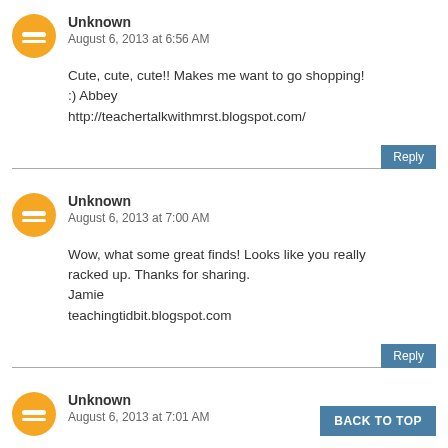Unknown
August 6, 2013 at 6:56 AM
Cute, cute, cute!! Makes me want to go shopping! :) Abbey
http://teachertalkwithmrst.blogspot.com/
Reply
Unknown
August 6, 2013 at 7:00 AM
Wow, what some great finds! Looks like you really racked up. Thanks for sharing.
Jamie
teachingtidbit.blogspot.com
Reply
Unknown
August 6, 2013 at 7:01 AM
Wow, what some great finds! Looks like you really racked up. Thanks for sharing.
BACK TO TOP